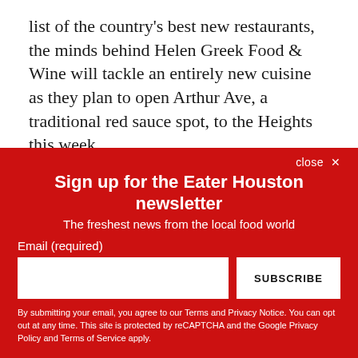list of the country's best new restaurants, the minds behind Helen Greek Food & Wine will tackle an entirely new cuisine as they plan to open Arthur Ave, a traditional red sauce spot, to the Heights this week.
Sign up for the Eater Houston newsletter
The freshest news from the local food world
Email (required)
SUBSCRIBE
By submitting your email, you agree to our Terms and Privacy Notice. You can opt out at any time. This site is protected by reCAPTCHA and the Google Privacy Policy and Terms of Service apply.